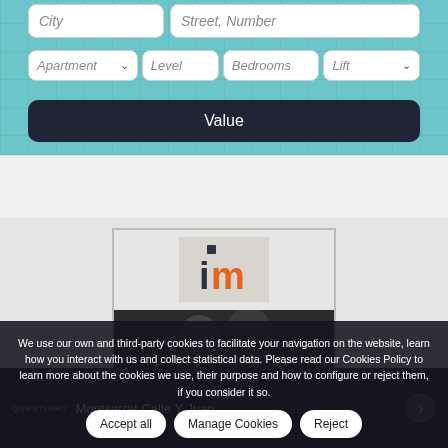[Figure (screenshot): Real estate website search form with fields for City, Street/Number, Apartment type dropdown, Level, Bedrooms, Lift dropdown, and a Value button, shown over a swimming pool background image]
[Figure (photo): Photo of two people in front of a wall with the 'im' real estate logo mounted on stone tiles]
We use our own and third-party cookies to facilitate your navigation on the website, learn how you interact with us and collect statistical data. Please read our Cookies Policy to learn more about the cookies we use, their purpose and how to configure or reject them, if you consider it so.
Accept all
Manage Cookies
Reject
QUESTION?
Montserrat Calle Y Juan